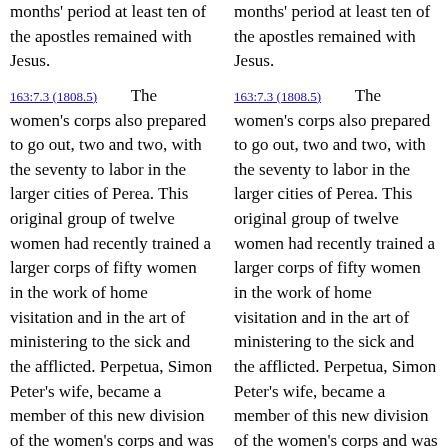months' period at least ten of the apostles remained with Jesus.
163:7.3 (1808.5)  The women's corps also prepared to go out, two and two, with the seventy to labor in the larger cities of Perea. This original group of twelve women had recently trained a larger corps of fifty women in the work of home visitation and in the art of ministering to the sick and the afflicted. Perpetua, Simon Peter's wife, became a member of this new division of the women's corps and was
months' period at least ten of the apostles remained with Jesus.
163:7.3 (1808.5)  The women's corps also prepared to go out, two and two, with the seventy to labor in the larger cities of Perea. This original group of twelve women had recently trained a larger corps of fifty women in the work of home visitation and in the art of ministering to the sick and the afflicted. Perpetua, Simon Peter's wife, became a member of this new division of the women's corps and was